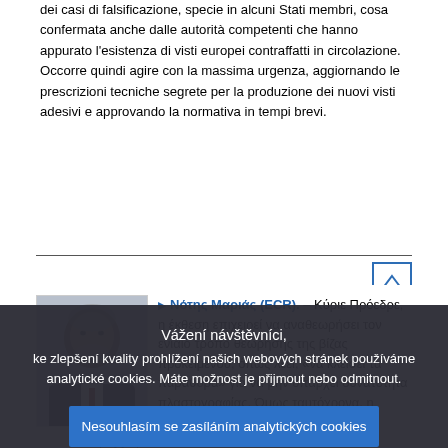dei casi di falsificazione, specie in alcuni Stati membri, cosa confermata anche dalle autorità competenti che hanno appurato l'esistenza di visti europei contraffatti in circolazione. Occorre quindi agire con la massima urgenza, aggiornando le prescrizioni tecniche segrete per la produzione dei nuovi visti adesivi e approvando la normativa in tempi brevi.
Νότης Μαριάς (ECR). – Κύριε Πρόεδρε, η έκθεση επιχειρεί να αναθεωρήσει τον ενιαίο τρόπο θεώρησης της βίζας προκειμένου, όπως λέει, «να κλείσει τα παράθυρα» για να μην υπάρχει δυνατότητα πλαστογραφίας. Όμως ταυτόχρονα, η Ευρωπαϊκή
[Figure (photo): Headshot photo of a middle-aged man with grey beard wearing a dark suit and red tie]
Vážení návštěvníci, ke zlepšení kvality prohlížení našich webových stránek používáme analytické cookies. Máte možnost je přijmout nebo odmitnout.
Nesouhlasím se zasíláním analytických cookies
Souhlasím se zasíláním analytických cookies
Další informace o ostatních cookies a záznamech na serveru, které používáme, naleznete na těchto stránkách: ochrana osobních údajů , zásady používání cookies a inventář cookies.